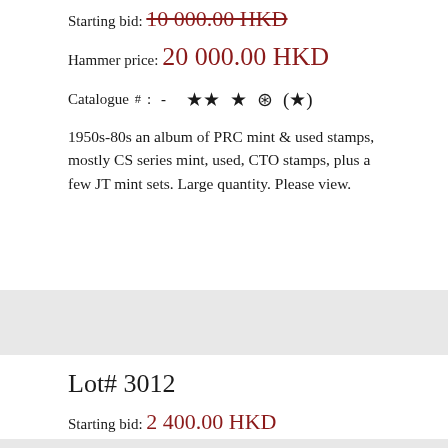Starting bid: 10 000.00 HKD
Hammer price: 20 000.00 HKD
Catalogue#: - ★★ ★ ⊙ (★)
1950s-80s an album of PRC mint & used stamps, mostly CS series mint, used, CTO stamps, plus a few JT mint sets. Large quantity. Please view.
Download main picture   Share
Lot# 3012
Starting bid: 2 400.00 HKD